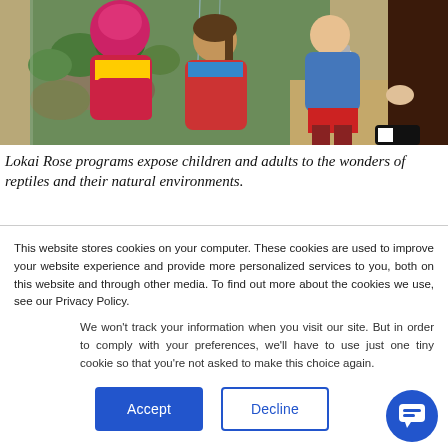[Figure (photo): Children in winter coats leaning toward a reptile terrarium exhibit, with an adult standing nearby. Indoor educational setting with plants and rocks visible behind glass.]
Lokai Rose programs expose children and adults to the wonders of reptiles and their natural environments.
This website stores cookies on your computer. These cookies are used to improve your website experience and provide more personalized services to you, both on this website and through other media. To find out more about the cookies we use, see our Privacy Policy.
We won't track your information when you visit our site. But in order to comply with your preferences, we'll have to use just one tiny cookie so that you're not asked to make this choice again.